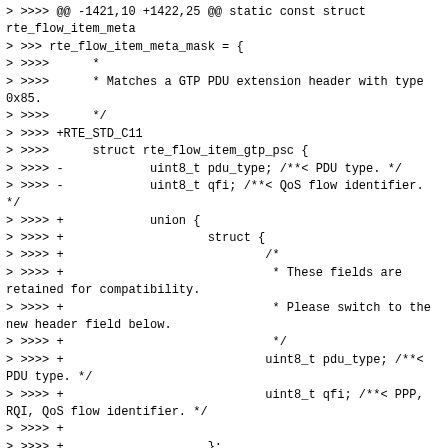> >>>> @@ -1421,10 +1422,25 @@ static const struct rte_flow_item_meta
> >>> rte_flow_item_meta_mask = {
> >>>>      *
> >>>>      * Matches a GTP PDU extension header with type 0x85.
> >>>>      */
> >>>> +RTE_STD_C11
> >>>>      struct rte_flow_item_gtp_psc {
> >>>> -            uint8_t pdu_type; /**< PDU type. */
> >>>> -            uint8_t qfi; /**< QoS flow identifier.
*/
> >>>> +            union {
> >>>> +                    struct {
> >>>> +                            /*
> >>>> +                             * These fields are retained for compatibility.
> >>>> +                             * Please switch to the new header field below.
> >>>> +                             */
> >>>> +                            uint8_t pdu_type; /**< PDU type. */
> >>>> +                            uint8_t qfi; /**< PPP, RQI, QoS flow identifier. */
> >>>> +
> >>>> +                    };
> >>>> +                    struct rte_gtp_psc_hdr hdr;
> >>>> +            };
> >>>>      };
> >>>
> >>> This will change the struct size even with union